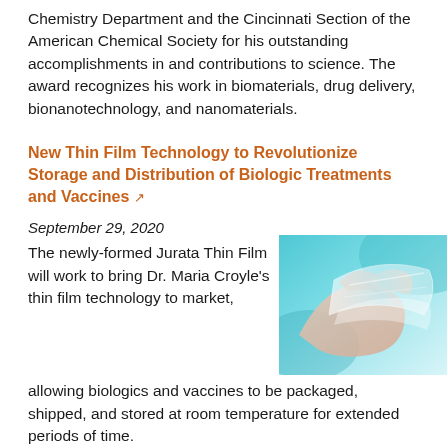Chemistry Department and the Cincinnati Section of the American Chemical Society for his outstanding accomplishments in and contributions to science. The award recognizes his work in biomaterials, drug delivery, bionanotechnology, and nanomaterials.
New Thin Film Technology to Revolutionize Storage and Distribution of Biologic Treatments and Vaccines
September 29, 2020
The newly-formed Jurata Thin Film will work to bring Dr. Maria Croyle's thin film technology to market, allowing biologics and vaccines to be packaged, shipped, and stored at room temperature for extended periods of time.
[Figure (photo): Close-up photo of gloved hands handling thin film material against a blue/teal background]
Brown inducted into Provost's Distinguished Service Academy
February 1, 2020
[Figure (photo): Photo related to Brown's induction into Provost's Distinguished Service Academy]